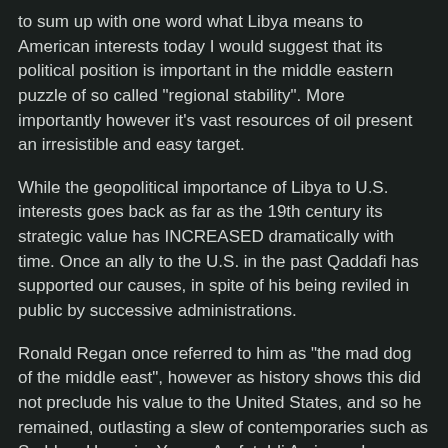to sum up with one word what Libya means to American interests today I would suggest that its political position is important in the middle eastern puzzle of so called "regional stability". More importantly however it's vast resources of oil present an irresistible and easy target.
While the geopolitical importance of Libya to U.S. interests goes back as far as the 19th century its strategic value has INCREASED dramatically with time. Once an ally to the U.S. in the past Qaddafi has supported our causes, in spite of his being reviled in public by successive administrations.
Ronald Regan once referred to him as "the mad dog of the middle east", however as history shows this did not preclude his value to the United States, and so he remained, outlasting a slew of contemporaries such as Saddam Hussein, Yassar Arafat, Idi Amin, and Slobodan Milosovic, to name a few.
Qaddafi Friend And Foe?
Educated in the West Qaddafi has served U.S. and European interests for decades. This upstart Col. whose